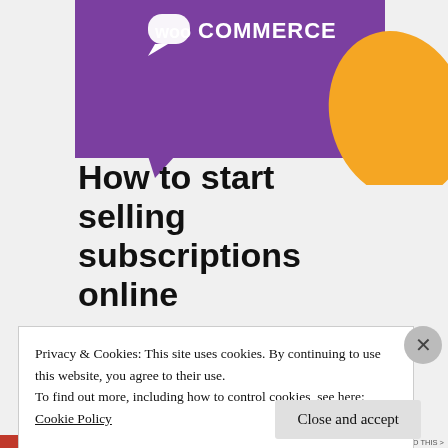[Figure (logo): WooCommerce logo on purple banner with orange decorative shape in top right corner]
How to start selling subscriptions online
Privacy & Cookies: This site uses cookies. By continuing to use this website, you agree to their use.
To find out more, including how to control cookies, see here:
Cookie Policy
Close and accept